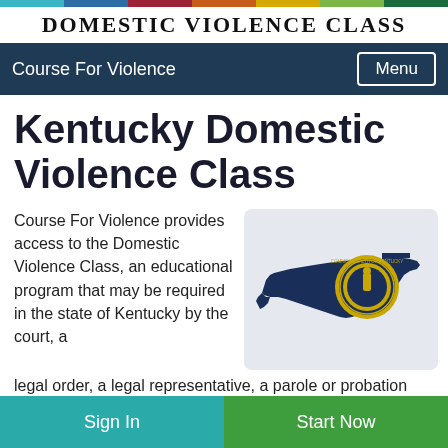[Figure (other): Horizontal color bar with segments: teal, blue, red/maroon, orange, yellow, light green, dark green]
Domestic Violence Class
Course For Violence
Kentucky Domestic Violence Class
Course For Violence provides access to the Domestic Violence Class, an educational program that may be required in the state of Kentucky by the court, a legal order, a legal representative, a parole or probation
[Figure (illustration): Kentucky state outline filled with the state flag design (dark navy blue with circular seal in gold/yellow), on a light gray-blue background]
Sign In   Start Now